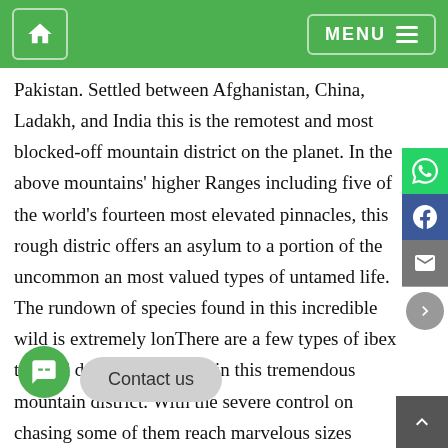Home | MENU
Pakistan. Settled between Afghanistan, China, Ladakh, and India this is the remotest and most blocked-off mountain district on the planet. In the above mountains' higher Ranges including five of the world's fourteen most elevated pinnacles, this rough district offers an asylum to a portion of the uncommon and most valued types of untamed life. The rundown of species found in this incredible wild is extremely long. There are a few types of ibex tracked down everywhere in this tremendous mountain district. With the severe control on chasing some of them reach marvelous sizes offering remunerating prizes to those who adventure in this incredible wilderness. Any chasing trip in this difficult-